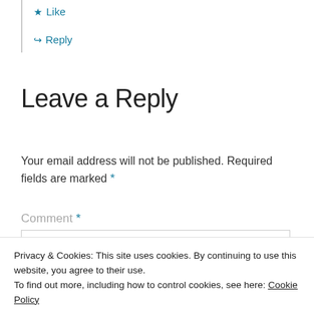★ Like
↳ Reply
Leave a Reply
Your email address will not be published. Required fields are marked *
Comment *
Privacy & Cookies: This site uses cookies. By continuing to use this website, you agree to their use.
To find out more, including how to control cookies, see here: Cookie Policy
Close and accept